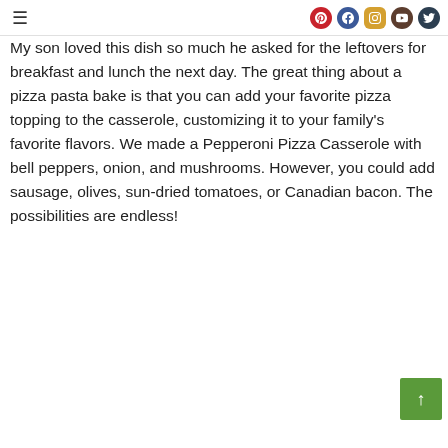≡ [Pinterest] [Facebook] [Instagram] [YouTube] [Twitter]
My son loved this dish so much he asked for the leftovers for breakfast and lunch the next day. The great thing about a pizza pasta bake is that you can add your favorite pizza topping to the casserole, customizing it to your family's favorite flavors. We made a Pepperoni Pizza Casserole with bell peppers, onion, and mushrooms. However, you could add sausage, olives, sun-dried tomatoes, or Canadian bacon. The possibilities are endless!